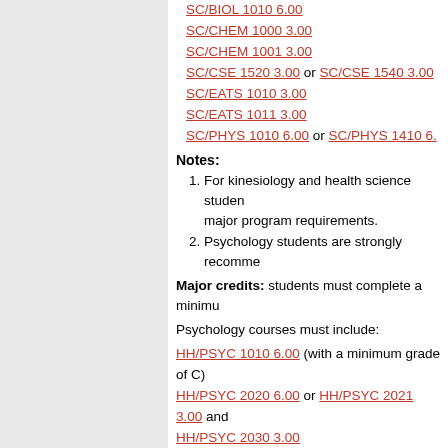SC/BIOL 1010 6.00
SC/CHEM 1000 3.00
SC/CHEM 1001 3.00
SC/CSE 1520 3.00 or SC/CSE 1540 3.00
SC/EATS 1010 3.00
SC/EATS 1011 3.00
SC/PHYS 1010 6.00 or SC/PHYS 1410 6.00
Notes:
For kinesiology and health science students, major program requirements.
Psychology students are strongly recommended
Major credits: students must complete a minimum
Psychology courses must include:
HH/PSYC 1010 6.00 (with a minimum grade of C)
HH/PSYC 2020 6.00 or HH/PSYC 2021 3.00 and
HH/PSYC 2030 3.00
HH/PSYC 3010 3.00
HH/PSYC 3031 3.00
HH/PSYC 3090 3.00
HH/PSYC 3125 3.00
at least six credits chosen from:
HH/PSYC 2110 3.00
HH/PSYC 2120 3.00
HH/PSYC 2130 3.00
HH/PSYC 3140 3.00
HH/PSYC 3170 3.00